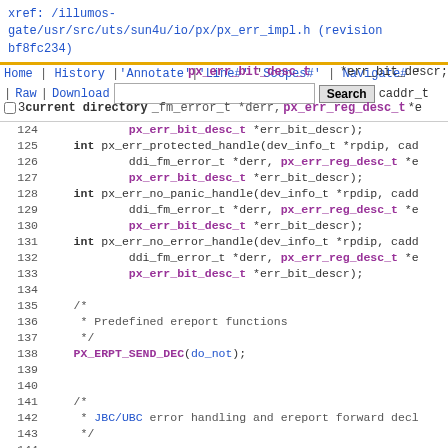xref: /illumos-gate/usr/src/uts/sun4u/io/px/px_err_impl.h (revision bf8fc234)
Home | History | Annotate | Line# | Scopes# | Navigate# navigation bar with search
[Figure (screenshot): Source code viewer showing lines 121-145 of px_err_impl.h with syntax highlighting. Lines show C function declarations for px_err_protected_handle, px_err_no_panic_handle, px_err_no_error_handle, a comment block about Predefined ereport functions, PX_ERPT_SEND_DEC macro call, a comment about JBC/UBC error handling, and a #define for PX_ERR_JBC_CLASS.]